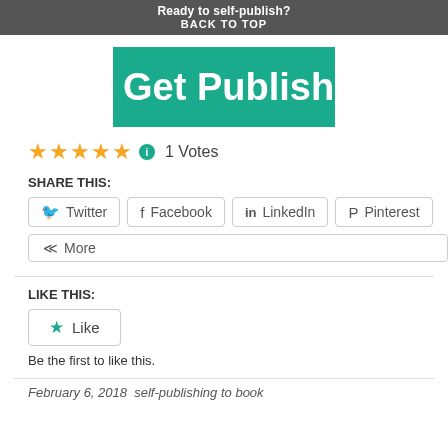Ready to self-publish? BACK TO TOP
[Figure (other): Get Published banner with teal background and white bold text]
★★★★★ ℹ 1 Votes
SHARE THIS:
Twitter   Facebook   LinkedIn   Pinterest
More
LIKE THIS:
★ Like
Be the first to like this.
February 6, 2018   self-publishing to book